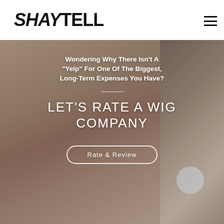[Figure (logo): SHAYTELL logo in bold black text, SHAY in italic and TELL in regular weight]
[Figure (photo): Hero image of a woman with a braided headband looking down, semi-transparent overlay with white text overlay showing headline and call-to-action button]
Wondering Why There Isn't A "Yelp" For One Of The Biggest, Long-Term Expenses You Have?
LET'S RATE A WIG COMPANY
Rate & Review